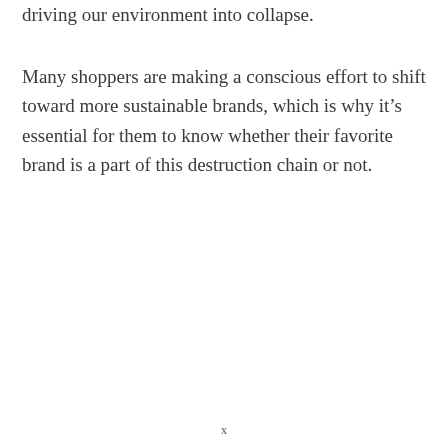driving our environment into collapse.
Many shoppers are making a conscious effort to shift toward more sustainable brands, which is why it’s essential for them to know whether their favorite brand is a part of this destruction chain or not.
x